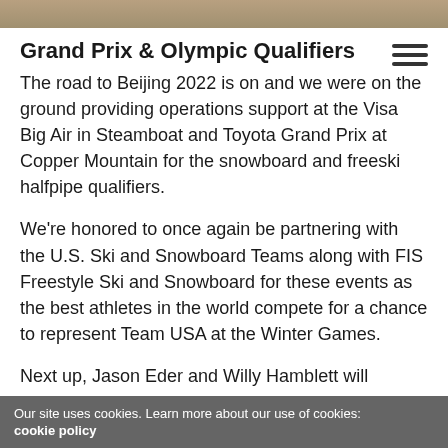[Figure (photo): Top image strip showing a partial photograph, likely a winter sports scene]
Grand Prix & Olympic Qualifiers
The road to Beijing 2022 is on and we were on the ground providing operations support at the Visa Big Air in Steamboat and Toyota Grand Prix at Copper Mountain for the snowboard and freeski halfpipe qualifiers.
We're honored to once again be partnering with the U.S. Ski and Snowboard Teams along with FIS Freestyle Ski and Snowboard for these events as the best athletes in the world compete for a chance to represent Team USA at the Winter Games.
Next up, Jason Eder and Willy Hamblett will
Our site uses cookies. Learn more about our use of cookies: cookie policy